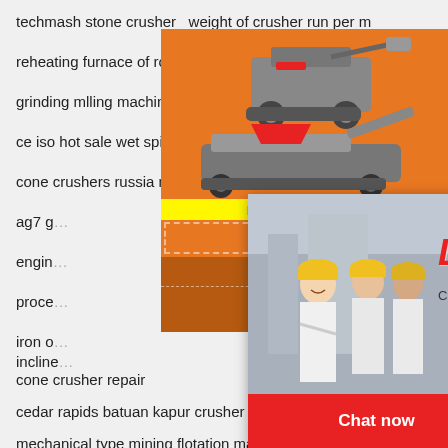techmash stone crusher   weight of crusher run per m
reheating furnace of rolling mill
grinding mlling machine 10 microns
ce iso hot sale wet spiral classifier for iron ore
cone crushers russia manufacturer
ag7 g...
engin...
proce...
iron o... incline...
cone crusher repair
cedar rapids batuan kapur crusher
mechanical type mining flotation machine for ...
penyewaan mesin belt conveyer di surabaya
impact mobile crusher hx123f1007 in pictures...
pabrik penghancur untuk limbah di pune maharashtra
[Figure (screenshot): Orange sidebar advertisement for mining/crushing equipment with machines images, 'Enjoy 3% discount', 'Click to Chat', 'Enquiry', and 'limingjlmofen@sina.com']
[Figure (screenshot): Live Chat popup overlay with photo of workers in hard hats, LIVE CHAT text in red italic, 'Click for a Free Consultation', Chat now (red) and Chat later (dark) buttons]